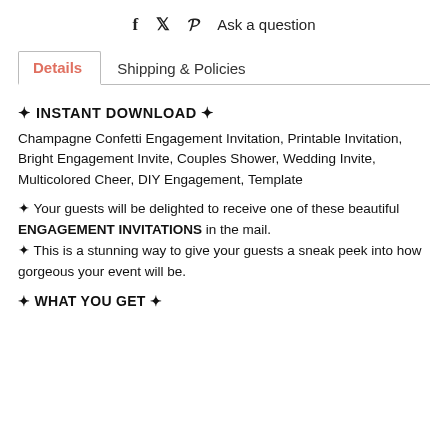f  twitter  pinterest  Ask a question
Details   Shipping & Policies
✦ INSTANT DOWNLOAD ✦
Champagne Confetti Engagement Invitation, Printable Invitation, Bright Engagement Invite, Couples Shower, Wedding Invite, Multicolored Cheer, DIY Engagement, Template
✦ Your guests will be delighted to receive one of these beautiful ENGAGEMENT INVITATIONS in the mail.
✦ This is a stunning way to give your guests a sneak peek into how gorgeous your event will be.
✦ WHAT YOU GET ✦